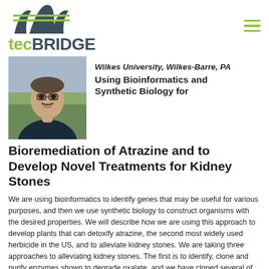tecBRIDGE
[Figure (photo): Headshot of a man with glasses and a mustache wearing a dark polo shirt, outdoors]
Wilkes University, Wilkes-Barre, PA
Using Bioinformatics and Synthetic Biology for Bioremediation of Atrazine and to Develop Novel Treatments for Kidney Stones
We are using bioinformatics to identify genes that may be useful for various purposes, and then we use synthetic biology to construct organisms with the desired properties. We will describe how we are using this approach to develop plants that can detoxify atrazine, the second most widely used herbicide in the US, and to alleviate kidney stones. We are taking three approaches to alleviating kidney stones. The first is to identify, clone and purify enzymes shown to degrade oxalate, and we have cloned several of these enzymes. A second approach is to attempt creating probiotic bacteria that will degrade